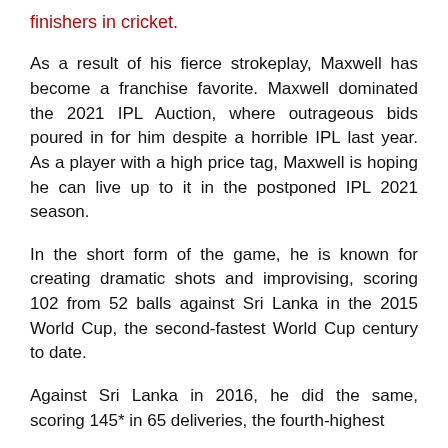finishers in cricket.
As a result of his fierce strokeplay, Maxwell has become a franchise favorite. Maxwell dominated the 2021 IPL Auction, where outrageous bids poured in for him despite a horrible IPL last year. As a player with a high price tag, Maxwell is hoping he can live up to it in the postponed IPL 2021 season.
In the short form of the game, he is known for creating dramatic shots and improvising, scoring 102 from 52 balls against Sri Lanka in the 2015 World Cup, the second-fastest World Cup century to date.
Against Sri Lanka in 2016, he did the same, scoring 145* in 65 deliveries, the fourth-highest